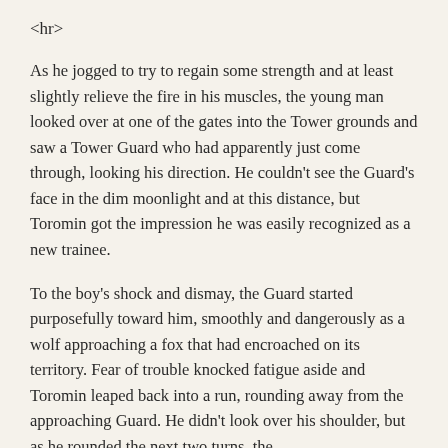<hr>
As he jogged to try to regain some strength and at least slightly relieve the fire in his muscles, the young man looked over at one of the gates into the Tower grounds and saw a Tower Guard who had apparently just come through, looking his direction. He couldn't see the Guard's face in the dim moonlight and at this distance, but Toromin got the impression he was easily recognized as a new trainee.
To the boy's shock and dismay, the Guard started purposefully toward him, smoothly and dangerously as a wolf approaching a fox that had encroached on its territory. Fear of trouble knocked fatigue aside and Toromin leaped back into a run, rounding away from the approaching Guard. He didn't look over his shoulder, but as he rounded the next two turns, the